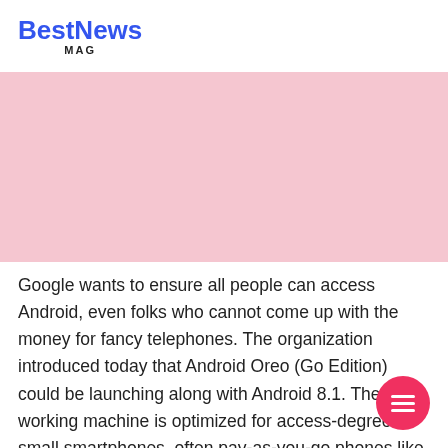BestNews MAG
[Figure (other): Pink/light rose colored banner placeholder image area]
Google wants to ensure all people can access Android, even folks who cannot come up with the money for fancy telephones. The organization introduced today that Android Oreo (Go Edition) could be launching along with Android 8.1. The new working machine is optimized for access-degree small smartphones, often pay-as-you-go phones like the Samsung Galaxy J3, the Motorola Moto G,